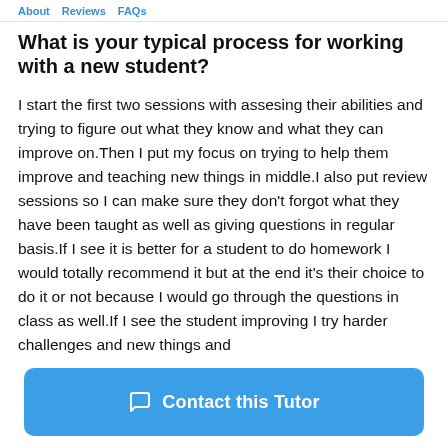About  Reviews  FAQs
What is your typical process for working with a new student?
I start the first two sessions with assesing their abilities and trying to figure out what they know and what they can improve on.Then I put my focus on trying to help them improve and teaching new things in middle.I also put review sessions so I can make sure they don't forgot what they have been taught as well as giving questions in regular basis.If I see it is better for a student to do homework I would totally recommend it but at the end it's their choice to do it or not because I would go through the questions in class as well.If I see the student improving I try harder challenges and new things and
Contact this Tutor